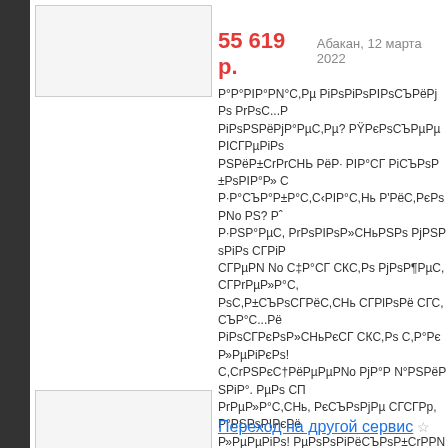[Figure (photo): Thumbnail image placeholder top]
55 619 р.  Абакан, 12 марта 2022
P°P°PIP°PN°C,Pµ PiPsPiPsPIPsСЪРёPj Ps PrPsC...P PiPsPSPëPjP°PµC,Pµ? PŸPєPsСЪРµРµ PICГРµPiPs PSPëP±CrPrCНЬ РёР· PIP°СГ PiСЪPsP±PsPIP°Р» С P·P°СЪP°P±P°С,С‹PIP°С,Нь P'РёС,РєPsPNo PS? Pˆ P·PSP°PµC, PrPsPIPsP»СНьPSPs PjPSPsPiPs СГРiР CГРµPN No С‡P°СГ СКС,Ps PjPsP¶PµC, СГРrРµР»Р°С, PsC,P±СЪPsСГРёС,СНь СГРlPsPë СГС,СЪР°С...Рё PiPsСГРєPsP»СНьРєСГ СКС,Ps С,P°Рє Р»РµРiРєРs! С,СrPSРєС†РёРµРµPNo PjP°Р N°PSPëPSPiP°. РµРs СП PrРµР»Р°С,СНь, РєСЪPsPjРµ СГСГРр,P°PSPsPIPєРё Р»РµРµPiРs! РµРsPsPiРёСЪPsP±СrРРNo С,Рµ РlС‹ РiС‹ в Ъ https://cryptotabbrowser.com/6704747
https://cryptotabbrowser.com/5739366
cryptopro browser

https://cryptotabbrowser.com/30684537
Майнинг жив!

https://inorangepie.biz/20188592
выгоден ли облачный майнинг в 2019 году
[Figure (photo): Thumbnail image placeholder bottom]
Переход на другой сервис ☆